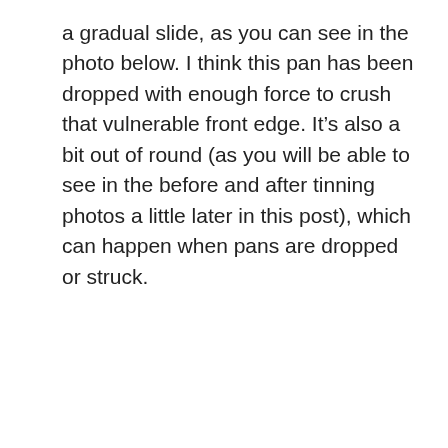a gradual slide, as you can see in the photo below. I think this pan has been dropped with enough force to crush that vulnerable front edge. It’s also a bit out of round (as you will be able to see in the before and after tinning photos a little later in this post), which can happen when pans are dropped or struck.